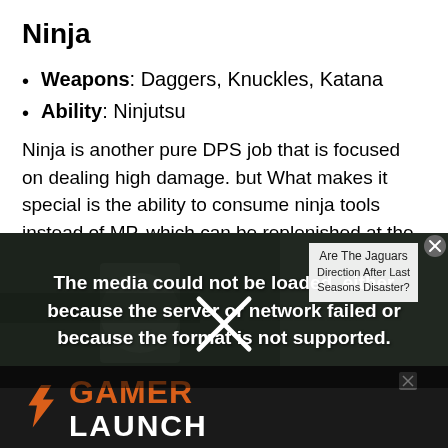Ninja
Weapons: Daggers, Knuckles, Katana
Ability: Ninjutsu
Ninja is another pure DPS job that is focused on dealing high damage. but What makes it special is the ability to consume ninja tools instead of MP, which can be replenished at the cubes.
[Figure (screenshot): Video player error overlay showing 'The media could not be loaded, either because the server or network failed or because the format is not supported.' with a blurred sports background and an advertisement banner for Gamer Launch at the bottom.]